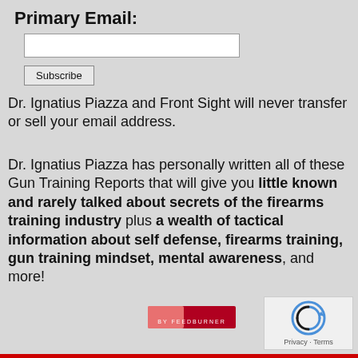Primary Email:
Dr. Ignatius Piazza and Front Sight will never transfer or sell your email address.
Dr. Ignatius Piazza has personally written all of these Gun Training Reports that will give you little known and rarely talked about secrets of the firearms training industry plus a wealth of tactical information about self defense, firearms training, gun training mindset, mental awareness, and more!
[Figure (logo): FeedBurner logo — red and pink rectangular logo with text BY FEEDBURNER]
[Figure (other): reCAPTCHA widget with circular arrow icon and Privacy · Terms text]